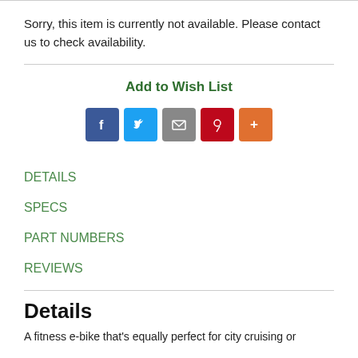Sorry, this item is currently not available. Please contact us to check availability.
Add to Wish List
[Figure (other): Social sharing icons: Facebook (blue), Twitter (blue), Email (gray), Pinterest (red), More (orange)]
DETAILS
SPECS
PART NUMBERS
REVIEWS
Details
A fitness e-bike that's equally perfect for city cruising or